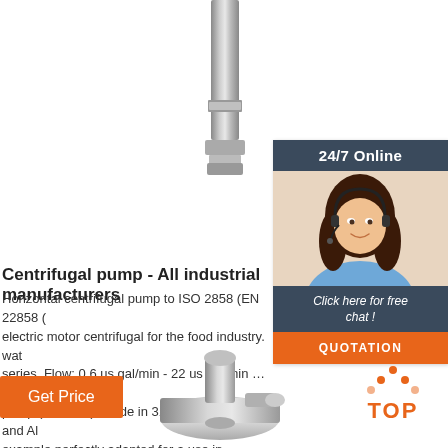[Figure (photo): Top portion of a stainless steel centrifugal pump, vertical orientation, silver metallic finish]
[Figure (infographic): 24/7 Online chat widget with dark blue header, photo of smiling woman with headset, 'Click here for free chat!' text, and orange QUOTATION button]
Centrifugal pump - All industrial manufacturers
Horizontal centrifugal pump to ISO 2858 (EN 22858 ( electric motor centrifugal for the food industry. wat series. Flow: 0.6 us gal/min - 22 us gal/min ... genera pump (ø 65mm). Made in 316L Stainless Steel and Al example perfectly adapted for a use in wineries. ...
[Figure (photo): Bottom portion of a stainless steel centrifugal pump component, silver metallic finish]
[Figure (logo): TOP badge with orange dots forming a triangle above the word TOP in orange letters]